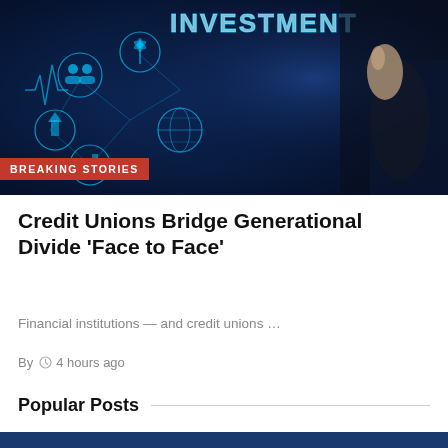[Figure (photo): Dark blue-toned photo of a person in a suit touching a glowing 'INVESTMENT' digital interface with interconnected icons including people, wind turbine, globe, and oil rig. Has 'BREAKING STORIES' red badge overlay at bottom left.]
Credit Unions Bridge Generational Divide ‘Face to Face’
Financial institutions — and credit unions …
By  ○ 4 hours ago
Popular Posts